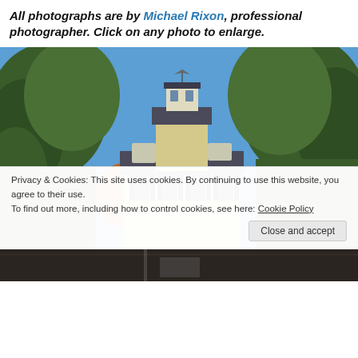All photographs are by Michael Rixon, professional photographer. Click on any photo to enlarge.
[Figure (photo): Photograph of a historic building with a cupola/tower visible above trees, blue sky background, trees in foreground on left and right]
Privacy & Cookies: This site uses cookies. By continuing to use this website, you agree to their use. To find out more, including how to control cookies, see here: Cookie Policy
[Figure (photo): Partial view of another photograph at the bottom of the page, dark tones]